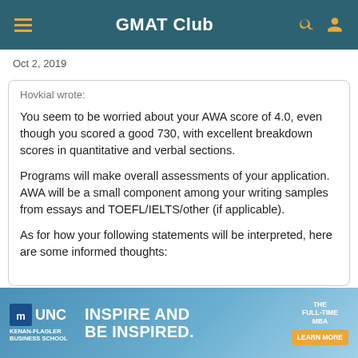GMAT Club
Oct 2, 2019
Hovkial wrote:

You seem to be worried about your AWA score of 4.0, even though you scored a good 730, with excellent breakdown scores in quantitative and verbal sections.

Programs will make overall assessments of your application. AWA will be a small component among your writing samples from essays and TOEFL/IELTS/other (if applicable).

As for how your following statements will be interpreted, here are some informed thoughts:
[Figure (advertisement): UNC Kenan-Flagler Business School ad banner: INSPIRE AND BE INSPIRED. THE FULL-TIME MBA. LEARN MORE button.]